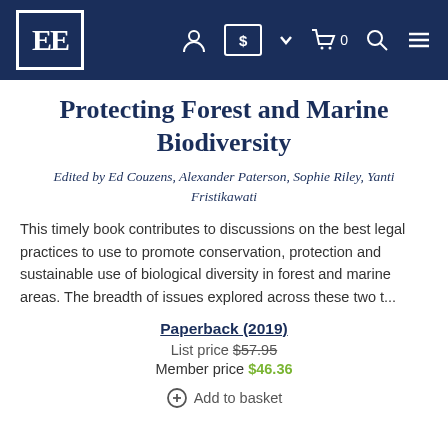[Figure (logo): Edward Elgar Publishing logo — EE in white on dark navy background with white border box]
Protecting Forest and Marine Biodiversity
Edited by Ed Couzens, Alexander Paterson, Sophie Riley, Yanti Fristikawati
This timely book contributes to discussions on the best legal practices to use to promote conservation, protection and sustainable use of biological diversity in forest and marine areas. The breadth of issues explored across these two t...
Paperback (2019)
List price $57.95
Member price $46.36
Add to basket